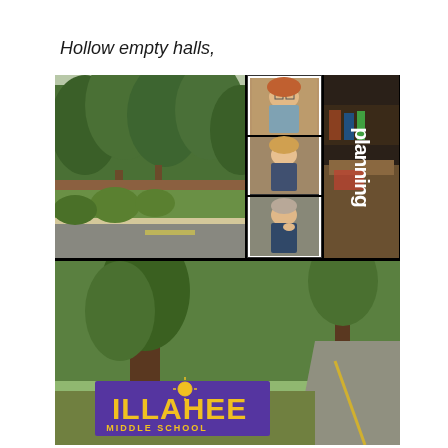Hollow empty halls,
[Figure (photo): Collage of three panels: top-left shows an outdoor road/parking lot scene with tall trees and green bushes at an empty school; top-center shows a video call screenshot with three people visible in separate video tiles; top-right shows the word 'planning' rotated 90 degrees in bold white text on dark background with a partial view of a room; bottom shows Illahee Middle School sign (purple with gold letters reading ILLAHEE MIDDLE SCHOOL) in front of tall trees with a road visible.]